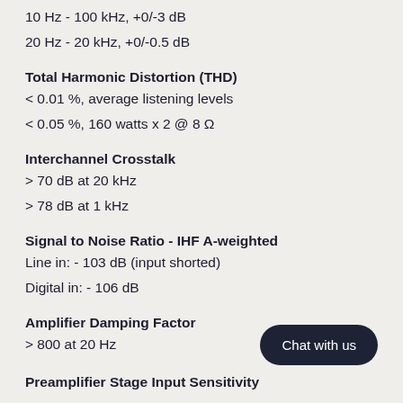10 Hz - 100 kHz, +0/-3 dB
20 Hz - 20 kHz, +0/-0.5 dB
Total Harmonic Distortion (THD)
< 0.01 %, average listening levels
< 0.05 %, 160 watts x 2 @ 8 Ω
Interchannel Crosstalk
> 70 dB at 20 kHz
> 78 dB at 1 kHz
Signal to Noise Ratio - IHF A-weighted
Line in: - 103 dB (input shorted)
Digital in: - 106 dB
Amplifier Damping Factor
> 800 at 20 Hz
Preamplifier Stage Input Sensitivity